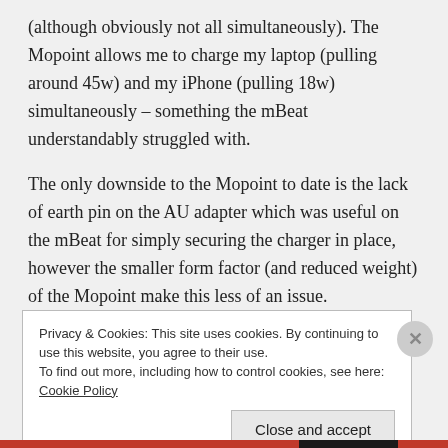(although obviously not all simultaneously). The Mopoint allows me to charge my laptop (pulling around 45w) and my iPhone (pulling 18w) simultaneously – something the mBeat understandably struggled with.
The only downside to the Mopoint to date is the lack of earth pin on the AU adapter which was useful on the mBeat for simply securing the charger in place, however the smaller form factor (and reduced weight) of the Mopoint make this less of an issue.
Privacy & Cookies: This site uses cookies. By continuing to use this website, you agree to their use. To find out more, including how to control cookies, see here: Cookie Policy